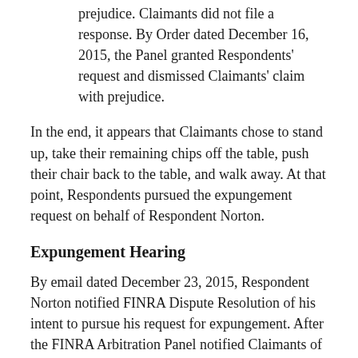prejudice. Claimants did not file a response. By Order dated December 16, 2015, the Panel granted Respondents' request and dismissed Claimants' claim with prejudice.
In the end, it appears that Claimants chose to stand up, take their remaining chips off the table, push their chair back to the table, and walk away. At that point, Respondents pursued the expungement request on behalf of Respondent Norton.
Expungement Hearing
By email dated December 23, 2015, Respondent Norton notified FINRA Dispute Resolution of his intent to pursue his request for expungement. After the FINRA Arbitration Panel notified Claimants of their intention to conduct an expungement hearing, Claimants did not oppose or attend